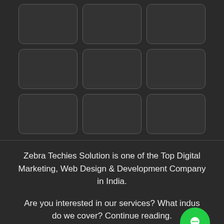[Figure (other): A 3x3 grid of dark rounded rectangle tiles on a dark background, arranged in three rows of three cells each. All cells are empty/placeholder style.]
Zebra Techies Solution is one of the Top Digital Marketing, Web Design & Development Company in India.
Are you interested in our services? What indus... do we cover? Continue reading.